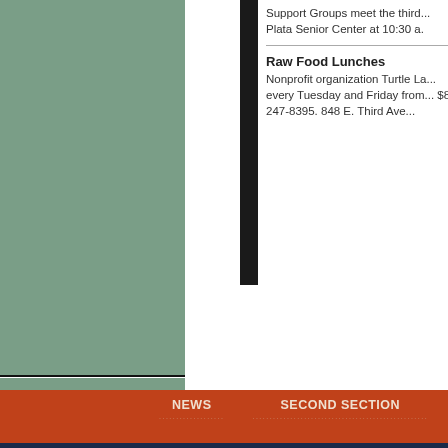[Figure (photo): Two green-colored image blocks stacked vertically on the left side of the page]
Support Groups meet the third... Plata Senior Center at 10:30 a.
Raw Food Lunches
Nonprofit organization Turtle La... every Tuesday and Friday from... $8. 247-8395. 848 E. Third Ave...
NEWS   SECOND SECTION   OPINION   CLA...